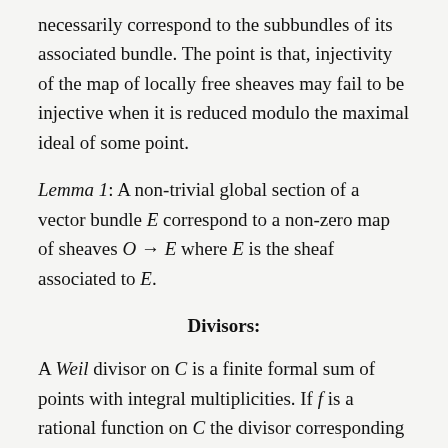necessarily correspond to the subbundles of its associated bundle. The point is that, injectivity of the map of locally free sheaves may fail to be injective when it is reduced modulo the maximal ideal of some point.
Lemma 1: A non-trivial global section of a vector bundle E correspond to a non-zero map of sheaves O → E where E is the sheaf associated to E.
Divisors:
A Weil divisor on C is a finite formal sum of points with integral multiplicities. If f is a rational function on C the divisor corresponding to f is